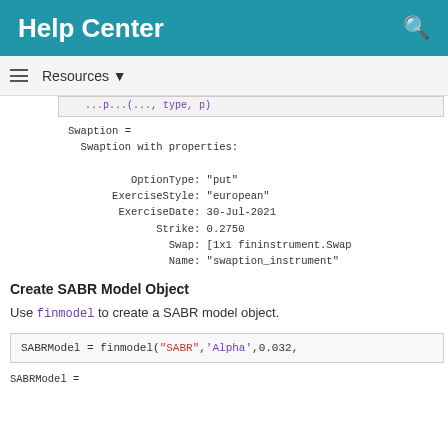Help Center
Resources ▼
Swaption =
  Swaption with properties:

        OptionType: "put"
     ExerciseStyle: "european"
      ExerciseDate: 30-Jul-2021
            Strike: 0.2750
              Swap: [1x1 fininstrument.Swap
              Name: "swaption_instrument"
Create SABR Model Object
Use finmodel to create a SABR model object.
SABRModel = finmodel("SABR",'Alpha',0.032,
SABRModel =